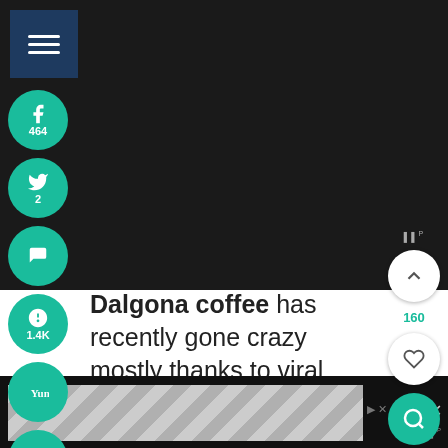[Figure (screenshot): Dark video/image banner area at top of page]
[Figure (infographic): Social media share sidebar with Facebook (464), Twitter (2), Pocket, Pinterest (1.4K), Yummly, and Email buttons in teal circles]
Dalgona coffee has recently gone crazy mostly thanks to viral TikTok videos.
[Figure (infographic): Right sidebar with scroll-up button (160 count), heart/save button, and teal search button]
[Figure (screenshot): Bottom ad banner with geometric pattern and close button]